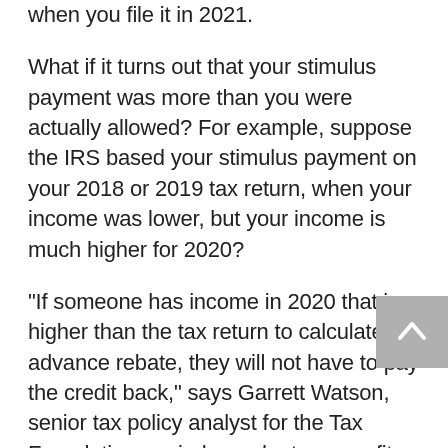when you file it in 2021.
What if it turns out that your stimulus payment was more than you were actually allowed? For example, suppose the IRS based your stimulus payment on your 2018 or 2019 tax return, when your income was lower, but your income is much higher for 2020?
“If someone has income in 2020 that is higher than the tax return to calculate the advance rebate, they will not have to pay the credit back,” says Garrett Watson, senior tax policy analyst for the Tax Foundation, an independent, nonprofit tax policy organization.
“In other words, any adjustments to a